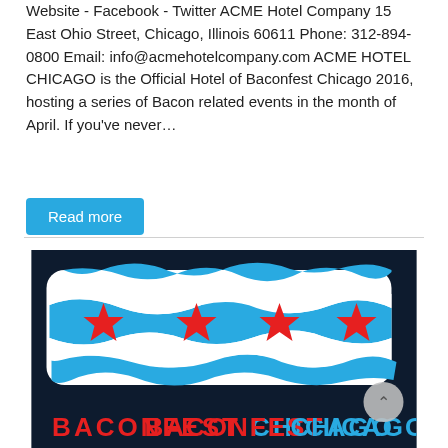Website - Facebook - Twitter ACME Hotel Company 15 East Ohio Street, Chicago, Illinois 60611 Phone: 312-894-0800 Email: info@acmehotelcompany.com ACME HOTEL CHICAGO is the Official Hotel of Baconfest Chicago 2016, hosting a series of Bacon related events in the month of April. If you've never…
Read more
[Figure (logo): Baconfest Chicago logo: dark navy background with a stylized bacon strip rendered in the style of the Chicago flag (light blue and white wavy stripes with four red six-pointed stars). Below the bacon strip, text reads 'BACONFEST' in red and 'CHICAGO' in light blue, bold capital letters.]